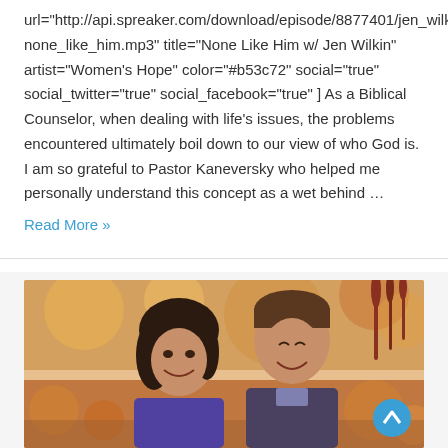url="http://api.spreaker.com/download/episode/8877401/jen_wilkin_none_like_him.mp3" title="None Like Him w/ Jen Wilkin" artist="Women's Hope" color="#b53c72" social="true" social_twitter="true" social_facebook="true" ] As a Biblical Counselor, when dealing with life's issues, the problems encountered ultimately boil down to our view of who God is.  I am so grateful to Pastor Kaneversky who helped me personally understand this concept as a wet behind …
Read More »
[Figure (photo): A couple smiling at each other outdoors with an autumn/blurred warm background in shades of orange, red, and gold. A man and woman facing each other, both smiling. A blue circular scroll-to-top button is visible in the lower right of the image.]